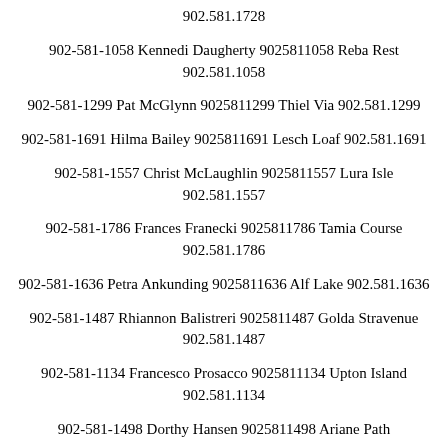902.581.1728
902-581-1058 Kennedi Daugherty 9025811058 Reba Rest 902.581.1058
902-581-1299 Pat McGlynn 9025811299 Thiel Via 902.581.1299
902-581-1691 Hilma Bailey 9025811691 Lesch Loaf 902.581.1691
902-581-1557 Christ McLaughlin 9025811557 Lura Isle 902.581.1557
902-581-1786 Frances Franecki 9025811786 Tamia Course 902.581.1786
902-581-1636 Petra Ankunding 9025811636 Alf Lake 902.581.1636
902-581-1487 Rhiannon Balistreri 9025811487 Golda Stravenue 902.581.1487
902-581-1134 Francesco Prosacco 9025811134 Upton Island 902.581.1134
902-581-1498 Dorthy Hansen 9025811498 Ariane Path